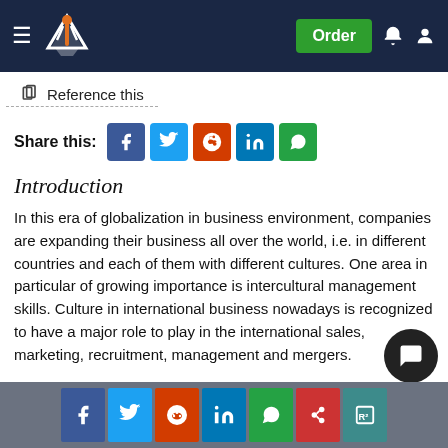Navigation bar with logo and Order button
Reference this
Share this:
Introduction
In this era of globalization in business environment, companies are expanding their business all over the world, i.e. in different countries and each of them with different cultures. One area in particular of growing importance is intercultural management skills. Culture in international business nowadays is recognized to have a major role to play in the international sales, marketing, recruitment, management and mergers.
"In short, culture is behind everything we do or say." (www.kwintessential.co.uk)